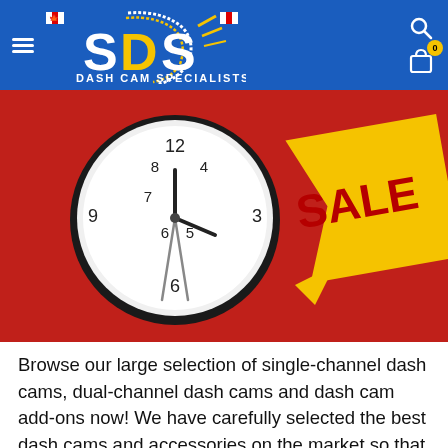SDS DASH CAM SPECIALISTS
[Figure (photo): A clock on a red background next to a yellow 'SALE' tag, with bold red 'SALE' text on the tag.]
Browse our large selection of single-channel dash cams, dual-channel dash cams and dash cam add-ons now! We have carefully selected the best dash cams and accessories on the market so that you can make your driving even safer and shop dash cams anytime, anywhere.